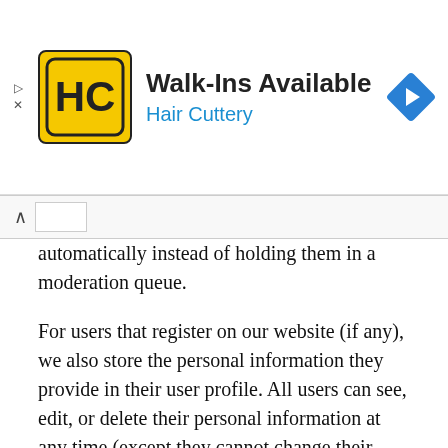[Figure (infographic): Hair Cuttery advertisement banner with yellow logo, text 'Walk-Ins Available' and 'Hair Cuttery' in blue, and a blue navigation diamond icon]
automatically instead of holding them in a moderation queue.
For users that register on our website (if any), we also store the personal information they provide in their user profile. All users can see, edit, or delete their personal information at any time (except they cannot change their username). Website administrators can also see and edit that information.